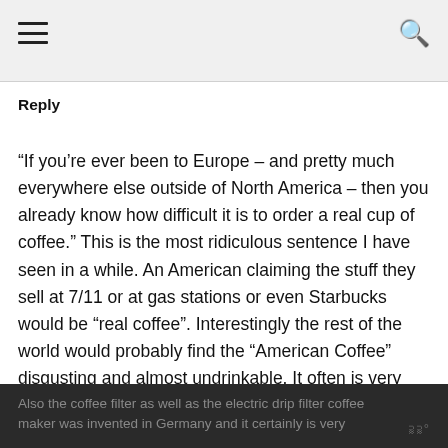≡  🔍
Reply
“If you’re ever been to Europe – and pretty much everywhere else outside of North America – then you already know how difficult it is to order a real cup of coffee.” This is the most ridiculous sentence I have seen in a while. An American claiming the stuff they sell at 7/11 or at gas stations or even Starbucks would be “real coffee”. Interestingly the rest of the world would probably find the “American Coffee” disgusting and almost undrinkable. It often is very weak and favoured with hazelnut or whatever and very sweet. Americans may use a lot of filter coffee machines, but what is produced with these machines is not great (coffee).
Also the coffee filter as well as the electric drip filter coffee maker was invented in Germany and it certainly is very